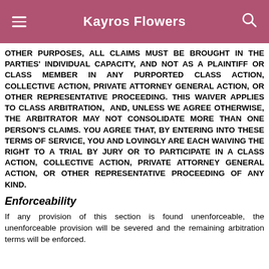Kayros Flowers
OTHER PURPOSES, ALL CLAIMS MUST BE BROUGHT IN THE PARTIES' INDIVIDUAL CAPACITY, AND NOT AS A PLAINTIFF OR CLASS MEMBER IN ANY PURPORTED CLASS ACTION, COLLECTIVE ACTION, PRIVATE ATTORNEY GENERAL ACTION, OR OTHER REPRESENTATIVE PROCEEDING. THIS WAIVER APPLIES TO CLASS ARBITRATION, AND, UNLESS WE AGREE OTHERWISE, THE ARBITRATOR MAY NOT CONSOLIDATE MORE THAN ONE PERSON'S CLAIMS. YOU AGREE THAT, BY ENTERING INTO THESE TERMS OF SERVICE, YOU AND LOVINGLY ARE EACH WAIVING THE RIGHT TO A TRIAL BY JURY OR TO PARTICIPATE IN A CLASS ACTION, COLLECTIVE ACTION, PRIVATE ATTORNEY GENERAL ACTION, OR OTHER REPRESENTATIVE PROCEEDING OF ANY KIND.
Enforceability
If any provision of this section is found unenforceable, the unenforceable provision will be severed and the remaining arbitration terms will be enforced.